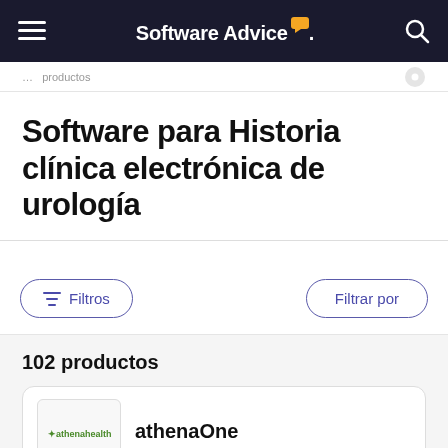Software Advice
Software para Historia clínica electrónica de urología
Filtros | Filtrar por
102 productos
[Figure (logo): athenahealth logo — green leaf icon and green text]
athenaOne
athenahealth, recently ranked #1 by 2022 Best in